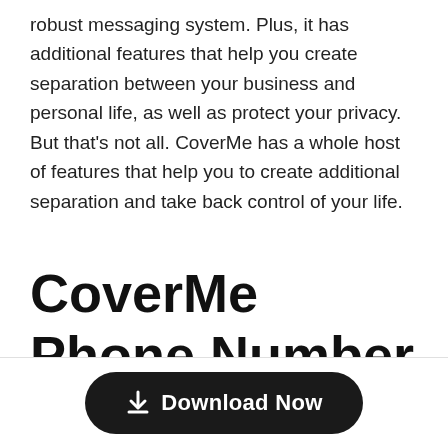robust messaging system. Plus, it has additional features that help you create separation between your business and personal life, as well as protect your privacy. But that's not all. CoverMe has a whole host of features that help you to create additional separation and take back control of your life.
CoverMe Phone Number Can Help You Separate Your Work
[Figure (other): Download Now button with download icon, dark rounded pill button]